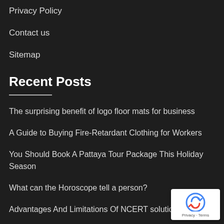Privacy Policy
Contact us
Sitemap
Recent Posts
The surprising benefit of logo floor mats for business
A Guide to Buying Fire-Retardant Clothing for Workers
You Should Book A Pattaya Tour Package This Holiday Season
What can the Horoscope tell a person?
Advantages And Limitations Of NCERT solutions
[Figure (logo): Google reCAPTCHA badge with Privacy and Terms links]